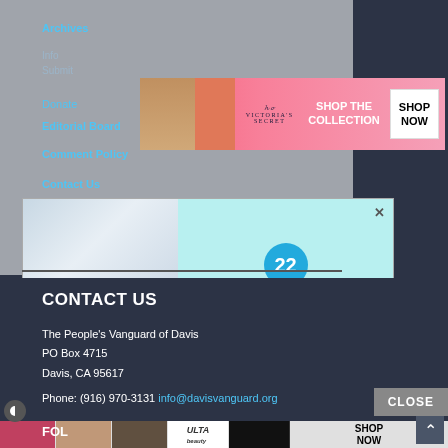Archives
Donate
Editorial Board
Comment Policy
Contact Us
Sitemap
[Figure (photo): Victoria's Secret advertisement - Shop The Collection with woman model]
[Figure (photo): BuzzFeed popup ad: 22 circle badge, 37 Beauty Products With Such Good Reviews You Might Want To Try Them Yourself]
CONTACT US
The People's Vanguard of Davis
PO Box 4715
Davis, CA 95617
Phone: (916) 970-3131 info@davisvanguard.org
[Figure (photo): Ulta Beauty advertisement at the bottom of the page - SHOP NOW]